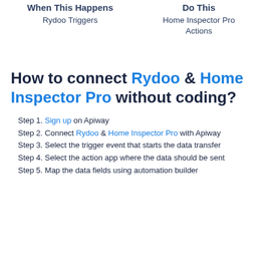When This Happens
Rydoo Triggers
Do This
Home Inspector Pro Actions
How to connect Rydoo & Home Inspector Pro without coding?
Step 1. Sign up on Apiway
Step 2. Connect Rydoo & Home Inspector Pro with Apiway
Step 3. Select the trigger event that starts the data transfer
Step 4. Select the action app where the data should be sent
Step 5. Map the data fields using automation builder